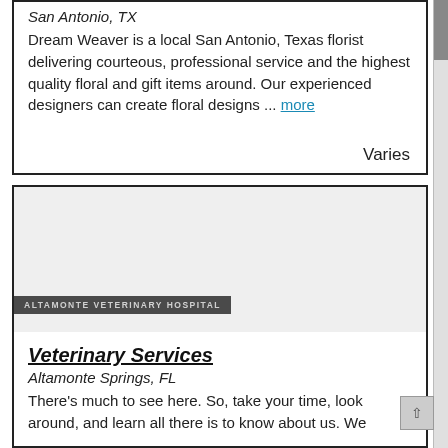San Antonio, TX
Dream Weaver is a local San Antonio, Texas florist delivering courteous, professional service and the highest quality floral and gift items around. Our experienced designers can create floral designs ... more
Varies
[Figure (logo): Altamonte Veterinary Hospital logo bar on grey image placeholder]
Veterinary Services
Altamonte Springs, FL
There's much to see here. So, take your time, look around, and learn all there is to know about us. We